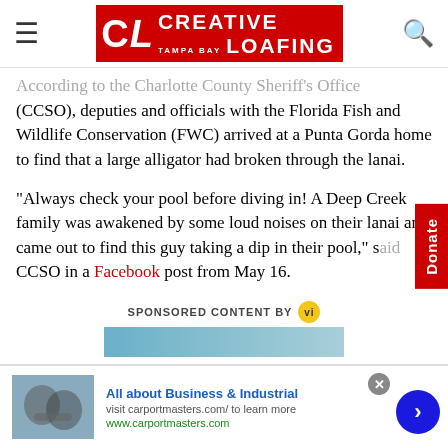Creative Loafing Tampa Bay
According to the Charlotte County Sheriff's Office (CCSO), deputies and officials with the Florida Fish and Wildlife Conservation (FWC) arrived at a Punta Gorda home to find that a large alligator had broken through the lanai.
"Always check your pool before diving in! A Deep Creek family was awakened by some loud noises on their lanai and came out to find this guy taking a dip in their pool," said CCSO in a Facebook post from May 16.
SPONSORED CONTENT BY
[Figure (screenshot): Advertisement banner for carportmasters.com with handshake image, titled All about Business & Industrial]
All about Business & Industrial
visit carportmasters.com/ to learn more
www.carportmasters.com